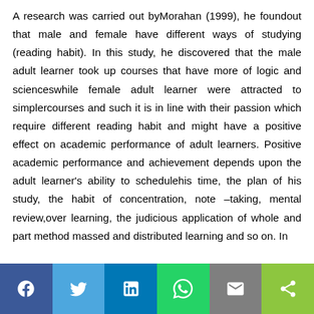A research was carried out byMorahan (1999), he foundout that male and female have different ways of studying (reading habit). In this study, he discovered that the male adult learner took up courses that have more of logic and scienceswhile female adult learner were attracted to simplercourses and such it is in line with their passion which require different reading habit and might have a positive effect on academic performance of adult learners. Positive academic performance and achievement depends upon the adult learner's ability to schedulehis time, the plan of his study, the habit of concentration, note –taking, mental review,over learning, the judicious application of whole and part method massed and distributed learning and so on. In
[Figure (other): Social media sharing bar with Facebook, Twitter, LinkedIn, WhatsApp, Email, and Share buttons]